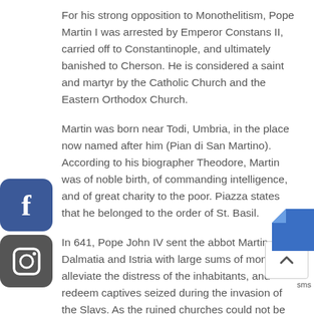For his strong opposition to Monothelitism, Pope Martin I was arrested by Emperor Constans II, carried off to Constantinople, and ultimately banished to Cherson. He is considered a saint and martyr by the Catholic Church and the Eastern Orthodox Church.
Martin was born near Todi, Umbria, in the place now named after him (Pian di San Martino). According to his biographer Theodore, Martin was of noble birth, of commanding intelligence, and of great charity to the poor. Piazza states that he belonged to the order of St. Basil.
In 641, Pope John IV sent the abbot Martin into Dalmatia and Istria with large sums of money to alleviate the distress of the inhabitants, and redeem captives seized during the invasion of the Slavs. As the ruined churches could not be rebuilt, the relics of se[veral of] the more important Dalmatian saints were broug[ht to] Rome, where John then erected an oratory in their
[Figure (logo): Facebook social media icon - blue rounded square with white 'f' letter]
[Figure (logo): Instagram social media icon - dark rounded square with camera outline]
[Figure (other): Scroll-to-top button with upward chevron arrow]
[Figure (other): Blue document corner/page curl graphic in bottom right]